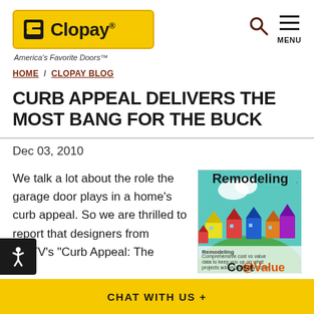[Figure (logo): Clopay logo on yellow background with tagline 'America's Favorite Doors']
[Figure (other): Search icon (magnifying glass) and hamburger menu with MENU label]
HOME / CLOPAY BLOG
CURB APPEAL DELIVERS THE MOST BANG FOR THE BUCK
Dec 03, 2010
We talk a lot about the role the garage door plays in a home's curb appeal. So we are thrilled to report that designers from HGTV's “Curb Appeal: The
[Figure (photo): Remodeling magazine cover showing Cost vs Value issue with illustrated colorful houses]
CHAT WITH US +